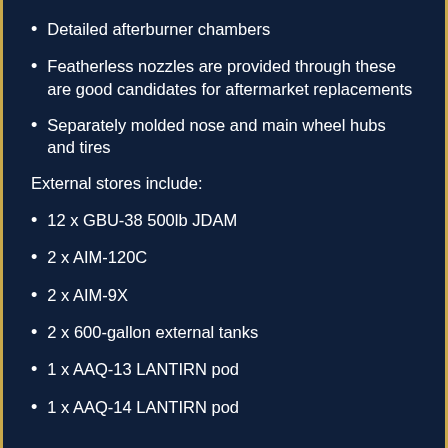Detailed afterburner chambers
Featherless nozzles are provided through these are good candidates for aftermarket replacements
Separately molded nose and main wheel hubs and tires
External stores include:
12 x GBU-38 500lb JDAM
2 x AIM-120C
2 x AIM-9X
2 x 600-gallon external tanks
1 x AAQ-13 LANTIRN pod
1 x AAQ-14 LANTIRN pod